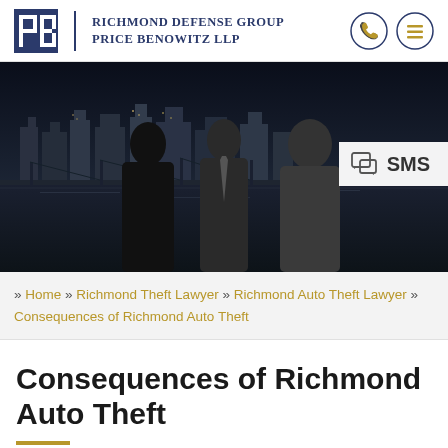[Figure (logo): Richmond Defense Group Price Benowitz LLP logo with PB letters and two circular icon buttons (phone and menu)]
[Figure (photo): Black and white photo of three attorneys standing in front of a city skyline at night with a river in the foreground. An SMS badge appears in the top right corner of the image.]
» Home » Richmond Theft Lawyer » Richmond Auto Theft Lawyer » Consequences of Richmond Auto Theft
Consequences of Richmond Auto Theft